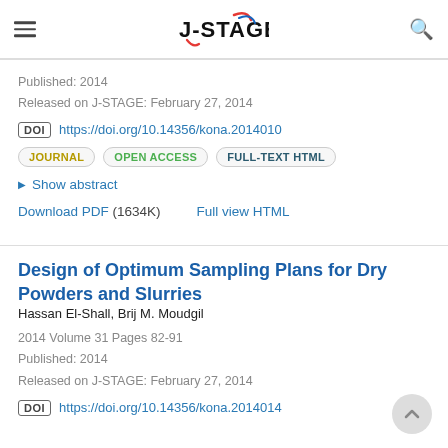J-STAGE
Published: 2014
Released on J-STAGE: February 27, 2014
DOI https://doi.org/10.14356/kona.2014010
JOURNAL   OPEN ACCESS   FULL-TEXT HTML
Show abstract
Download PDF (1634K)   Full view HTML
Design of Optimum Sampling Plans for Dry Powders and Slurries
Hassan El-Shall, Brij M. Moudgil
2014 Volume 31 Pages 82-91
Published: 2014
Released on J-STAGE: February 27, 2014
DOI https://doi.org/10.14356/kona.2014014